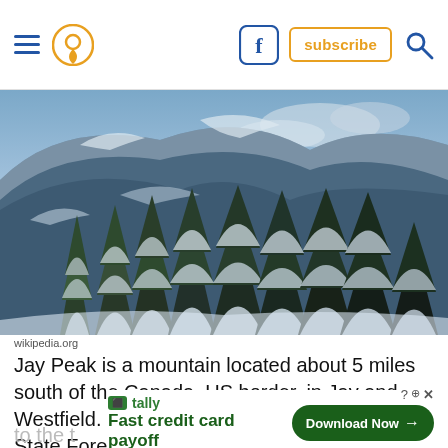Navigation header with hamburger menu, location pin icon, Facebook icon, subscribe button, and search icon
[Figure (photo): Snow-covered mountain with evergreen trees blanketed in snow against a blue sky. Winter mountain scene at Jay Peak.]
wikipedia.org
Jay Peak is a mountain located about 5 miles south of the Canada–US border, in Jay and Westfield. Most of the mountain is in Jay Peak State Forest. A tram can take you to the top… Learn more… it yourself!
[Figure (infographic): Tally advertisement overlay: 'Fast credit card payoff' with green Download Now button and X/? close controls]